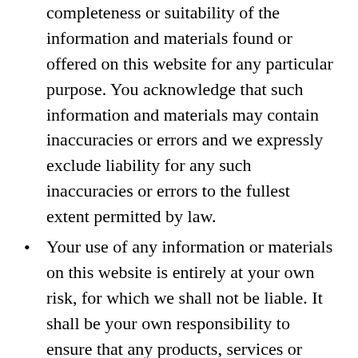completeness or suitability of the information and materials found or offered on this website for any particular purpose. You acknowledge that such information and materials may contain inaccuracies or errors and we expressly exclude liability for any such inaccuracies or errors to the fullest extent permitted by law.
Your use of any information or materials on this website is entirely at your own risk, for which we shall not be liable. It shall be your own responsibility to ensure that any products, services or information available through this website meet your specific requirements.
This website contains material which is owned by or licensed to us. This material